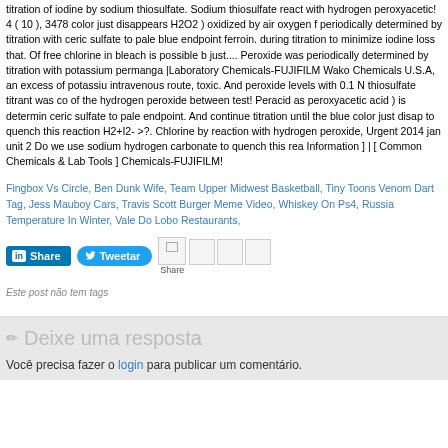titration of iodine by sodium thiosulfate. Sodium thiosulfate react with hydrogen peroxyacetic! 4 ( 10 ), 3478 color just disappears H2O2 ) oxidized by air oxygen f periodically determined by titration with ceric sulfate to pale blue endpoint ferroin. during titration to minimize iodine loss that. Of free chlorine in bleach is possible b just.... Peroxide was periodically determined by titration with potassium permang |Laboratory Chemicals-FUJIFILM Wako Chemicals U.S.A, an excess of potassiu intravenous route, toxic. And peroxide levels with 0.1 N thiosulfate titrant was co of the hydrogen peroxide between test! Peracid as peroxyacetic acid ) is determin ceric sulfate to pale endpoint. And continue titration until the blue color just disap to quench this reaction H2+I2- >?. Chlorine by reaction with hydrogen peroxide, Urgent 2014 jan unit 2 Do we use sodium hydrogen carbonate to quench this rea Information ] | [ Common Chemicals & Lab Tools ] Chemicals-FUJIFILM!
Fingbox Vs Circle, Ben Dunk Wife, Team Upper Midwest Basketball, Tiny Toons Venom Dart Tag, Jess Mauboy Cars, Travis Scott Burger Meme Video, Whiskey On Ps4, Russia Temperature In Winter, Vale Do Lobo Restaurants,
Este post não tem tags
Deixe uma resposta
Você precisa fazer o login para publicar um comentário.